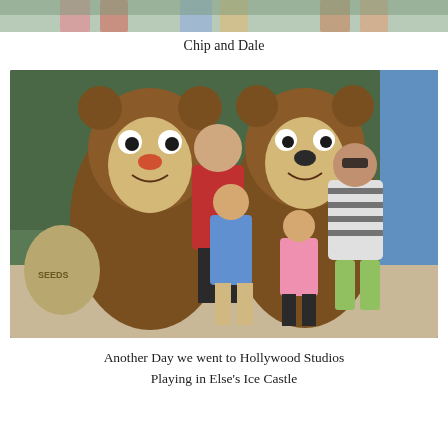[Figure (photo): Partial top photo showing people's legs and lower bodies, cropped at the top of the page]
Chip and Dale
[Figure (photo): A family of four posing with Chip and Dale Disney character mascots at what appears to be a Disney theme park. A man in a red shirt, a boy in a blue shirt, a girl in a pink shirt, and a woman in a striped shirt stand between the two large chipmunk costumes. A burlap seeds sack is visible on the left.]
Another Day we went to Hollywood Studios
Playing in Else's Ice Castle